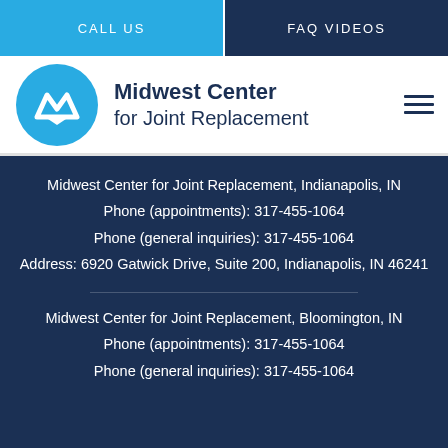CALL US | FAQ VIDEOS
[Figure (logo): Midwest Center for Joint Replacement logo - blue circle with MW monogram]
Midwest Center for Joint Replacement
Midwest Center for Joint Replacement, Indianapolis, IN
Phone (appointments): 317-455-1064
Phone (general inquiries): 317-455-1064
Address: 6920 Gatwick Drive, Suite 200, Indianapolis, IN 46241
Midwest Center for Joint Replacement, Bloomington, IN
Phone (appointments): 317-455-1064
Phone (general inquiries): 317-455-1064